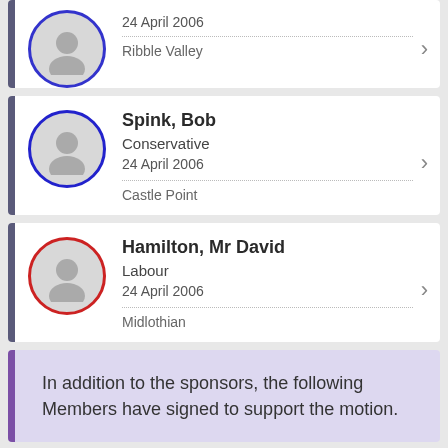24 April 2006 | Ribble Valley
Spink, Bob | Conservative | 24 April 2006 | Castle Point
Hamilton, Mr David | Labour | 24 April 2006 | Midlothian
In addition to the sponsors, the following Members have signed to support the motion.